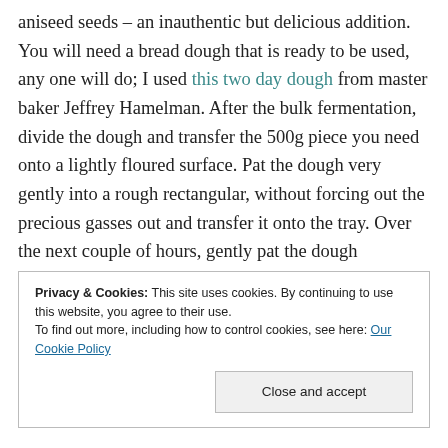aniseed seeds – an inauthentic but delicious addition. You will need a bread dough that is ready to be used, any one will do; I used this two day dough from master baker Jeffrey Hamelman. After the bulk fermentation, divide the dough and transfer the 500g piece you need onto a lightly floured surface. Pat the dough very gently into a rough rectangular, without forcing out the precious gasses out and transfer it onto the tray. Over the next couple of hours, gently pat the dough outwards, so as to cover the whole surface
Privacy & Cookies: This site uses cookies. By continuing to use this website, you agree to their use. To find out more, including how to control cookies, see here: Our Cookie Policy